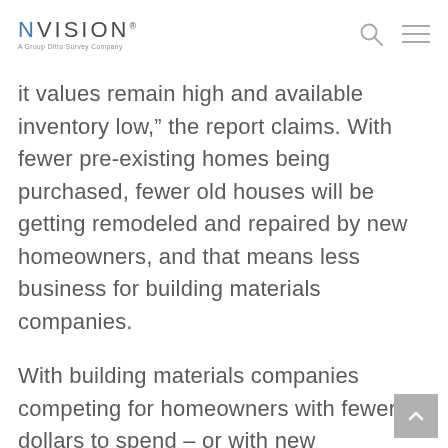NVISION
it values remain high and available inventory low,” the report claims. With fewer pre-existing homes being purchased, fewer old houses will be getting remodeled and repaired by new homeowners, and that means less business for building materials companies.
With building materials companies competing for homeowners with fewer dollars to spend – or with new construction townhomes that don’t need remodeling – they will need to find other ways to protect their margins, including